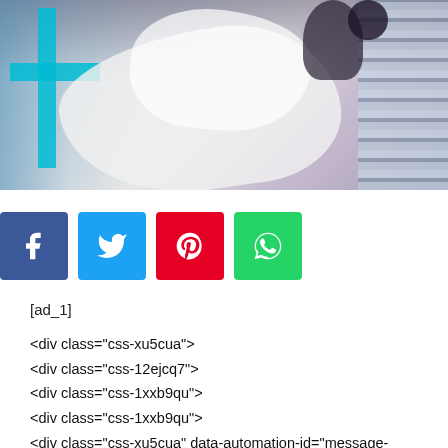[Figure (photo): Medical/healthcare scene showing a person in white protective clothing or medical gown, with teal/cyan cross visible on left side]
[Figure (infographic): Social media share buttons: Facebook (blue), Twitter (light blue), Pinterest (red), WhatsApp (green)]
[ad_1]
<div class="css-xu5cua">
<div class="css-12ejcq7">
<div class="css-1xxb9qu">
<div class="css-1xxb9qu">
<div class="css-xu5cua" data-automation-id="message-bubble">
<div class="css-1b9qk2a">